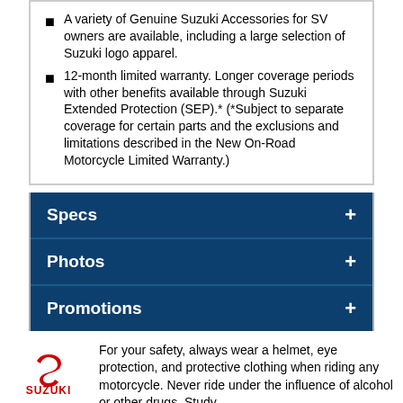A variety of Genuine Suzuki Accessories for SV owners are available, including a large selection of Suzuki logo apparel.
12-month limited warranty. Longer coverage periods with other benefits available through Suzuki Extended Protection (SEP).* (*Subject to separate coverage for certain parts and the exclusions and limitations described in the New On-Road Motorcycle Limited Warranty.)
Specs
Photos
Promotions
[Figure (logo): Suzuki logo: red S emblem above bold red SUZUKI text]
For your safety, always wear a helmet, eye protection, and protective clothing when riding any motorcycle. Never ride under the influence of alcohol or other drugs. Study your owner's manual and always inspect your Suzuki before riding. Take a riding skills course. For the MSF